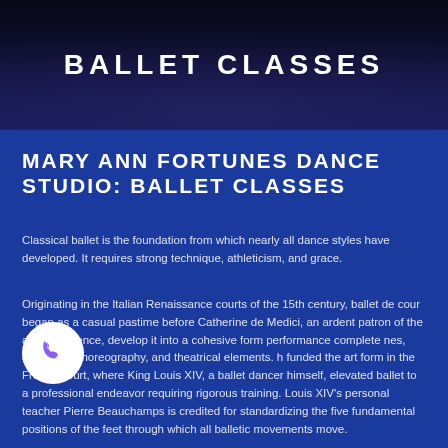BALLET CLASSES
MARY ANN FORTUNES DANCE STUDIO: BALLET CLASSES
Classical ballet is the foundation from which nearly all dance styles have developed. It requires strong technique, athleticism, and grace.
Originating in the Italian Renaissance courts of the 15th century, ballet de cour began as a casual pastime before Catherine de Medici, an ardent patron of the arts in Florence, develop it into a cohesive form performance complete nes, geometric choreography, and theatrical elements. h funded the art form in the French court, where King Louis XIV, a ballet dancer himself, elevated ballet to a professional endeavor requiring rigorous training. Louis XIV's personal teacher Pierre Beauchamps is credited for standardizing the five fundamental positions of the feet through which all balletic movements move.
[Figure (other): White circular phone call button with purple phone handset icon]